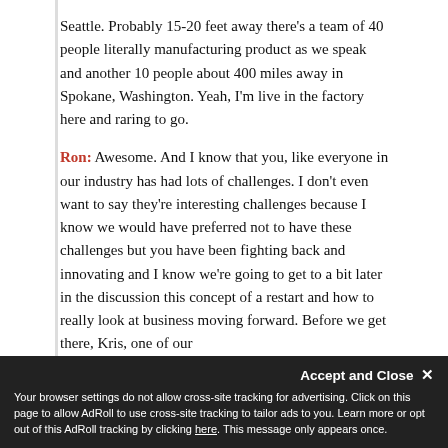Seattle. Probably 15-20 feet away there's a team of 40 people literally manufacturing product as we speak and another 10 people about 400 miles away in Spokane, Washington. Yeah, I'm live in the factory here and raring to go.
Ron: Awesome. And I know that you, like everyone in our industry has had lots of challenges. I don't even want to say they're interesting challenges because I know we would have preferred not to have these challenges but you have been fighting back and innovating and I know we're going to get to a bit later in the discussion this concept of a restart and how to really look at business moving forward. Before we get there, Kris, one of our
Accept and Close ×
Your browser settings do not allow cross-site tracking for advertising. Click on this page to allow AdRoll to use cross-site tracking to tailor ads to you. Learn more or opt out of this AdRoll tracking by clicking here. This message only appears once.